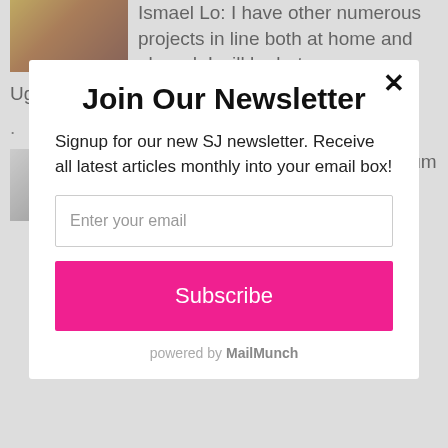Ismael Lo: I have other numerous projects in line both at home and abroad. I will be between Uganda, West Africa and Europe this year.
.
[Figure (photo): Photo thumbnail of a person]
MK: I hope for my upcoming album to outdo my
Join Our Newsletter
Signup for our new SJ newsletter. Receive all latest articles monthly into your email box!
Enter your email
Subscribe
powered by MailMunch